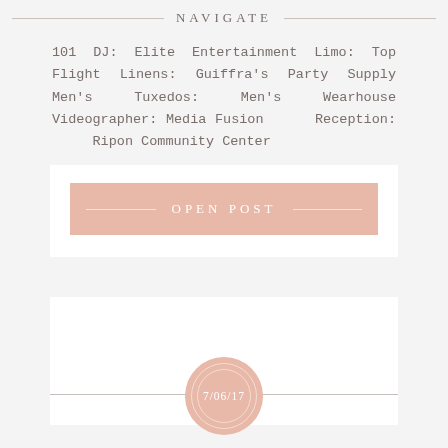NAVIGATE
101 DJ: Elite Entertainment Limo: Top Flight Linens: Guiffra's Party Supply Men's Tuxedos: Men's Wearhouse Videographer: Media Fusion Reception: Ripon Community Center
OPEN POST
[Figure (other): Pink circle date badge showing 7/06/17 with decorative rings, overlaid on a horizontal line divider]